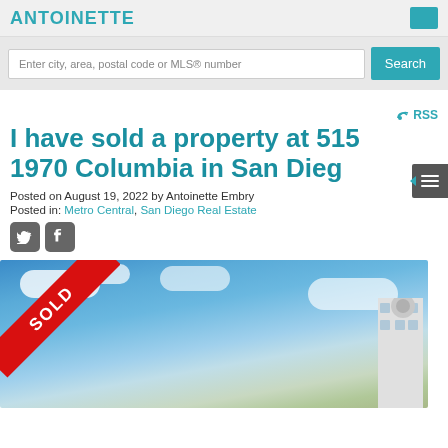Enter city, area, postal code or MLS® number
Search
RSS
I have sold a property at 515 1970 Columbia in San Diego
Posted on August 19, 2022 by Antoinette Embry
Posted in: Metro Central, San Diego Real Estate
[Figure (photo): Property photo with SOLD ribbon overlay, showing a building against a blue sky with clouds]